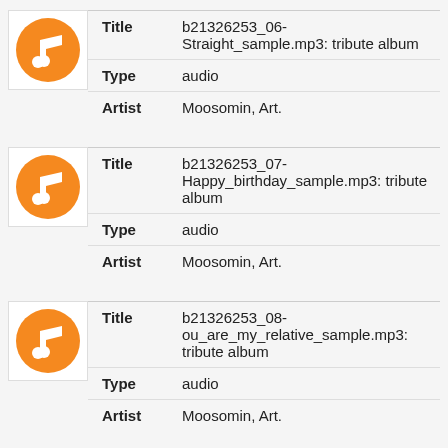[Figure (illustration): Orange circle music note icon for audio record 1]
| Title | b21326253_06-Straight_sample.mp3: tribute album |
| Type | audio |
| Artist | Moosomin, Art. |
[Figure (illustration): Orange circle music note icon for audio record 2]
| Title | b21326253_07-Happy_birthday_sample.mp3: tribute album |
| Type | audio |
| Artist | Moosomin, Art. |
[Figure (illustration): Orange circle music note icon for audio record 3]
| Title | b21326253_08-ou_are_my_relative_sample.mp3: tribute album |
| Type | audio |
| Artist | Moosomin, Art. |